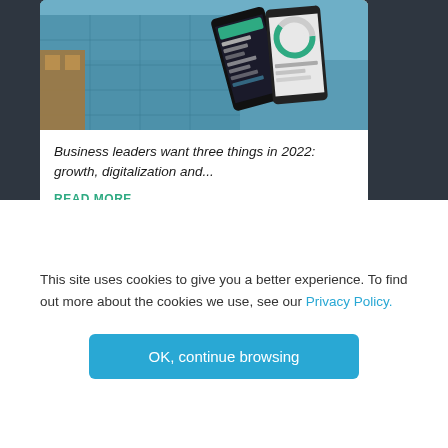[Figure (photo): Photo of a glass building exterior with smartphones in the foreground displaying app interfaces]
Business leaders want three things in 2022: growth, digitalization and...
READ MORE
Stay in Touch
This site uses cookies to give you a better experience. To find out more about the cookies we use, see our Privacy Policy.
OK, continue browsing